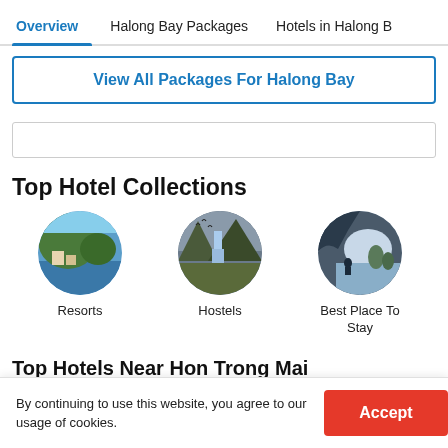Overview | Halong Bay Packages | Hotels in Halong B...
View All Packages For Halong Bay
Top Hotel Collections
[Figure (photo): Circular photo of a resort by the water with lush green hillside]
Resorts
[Figure (photo): Circular photo of a waterfall with mountain scenery and birds]
Hostels
[Figure (photo): Circular photo of a person at a rocky cave opening overlooking water and limestone karsts]
Best Place To Stay
Top Hotels Near Hon Trong Mai
By continuing to use this website, you agree to our usage of cookies.
Accept